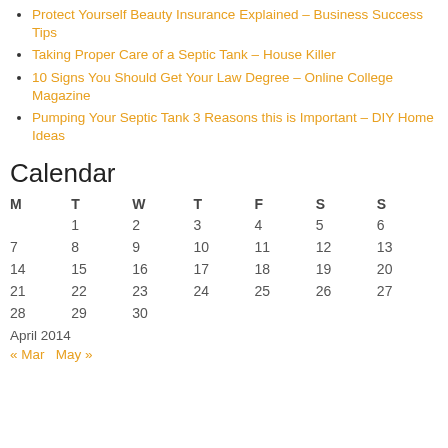Protect Yourself Beauty Insurance Explained – Business Success Tips
Taking Proper Care of a Septic Tank – House Killer
10 Signs You Should Get Your Law Degree – Online College Magazine
Pumping Your Septic Tank 3 Reasons this is Important – DIY Home Ideas
Calendar
| M | T | W | T | F | S | S |
| --- | --- | --- | --- | --- | --- | --- |
|  | 1 | 2 | 3 | 4 | 5 | 6 |
| 7 | 8 | 9 | 10 | 11 | 12 | 13 |
| 14 | 15 | 16 | 17 | 18 | 19 | 20 |
| 21 | 22 | 23 | 24 | 25 | 26 | 27 |
| 28 | 29 | 30 |  |  |  |  |
April 2014
« Mar   May »